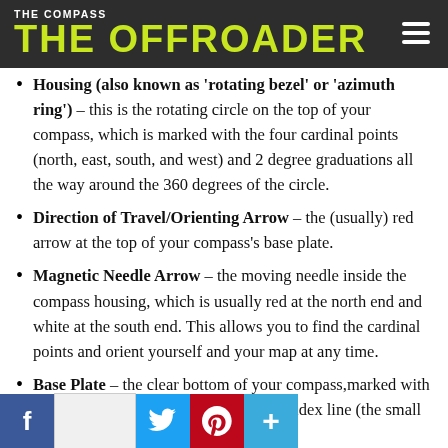THE COMPASS / THE OFFROADER
Housing (also known as 'rotating bezel' or 'azimuth ring') – this is the rotating circle on the top of your compass, which is marked with the four cardinal points (north, east, south, and west) and 2 degree graduations all the way around the 360 degrees of the circle.
Direction of Travel/Orienting Arrow – the (usually) red arrow at the top of your compass's base plate.
Magnetic Needle Arrow – the moving needle inside the compass housing, which is usually red at the north end and white at the south end. This allows you to find the cardinal points and orient yourself and your map at any time.
Base Plate – the clear bottom of your compass,marked with rulers (on both USGS map scales), an index line (the small line below the direction of travel arrow